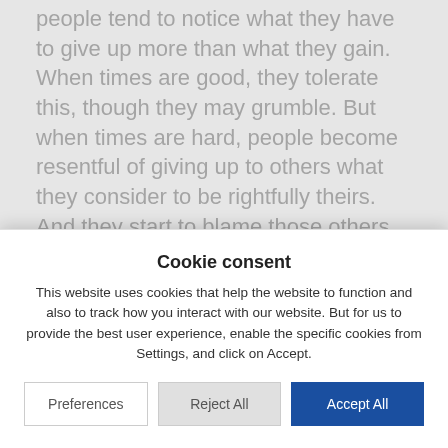people tend to notice what they have to give up more than what they gain. When times are good, they tolerate this, though they may grumble. But when times are hard, people become resentful of giving up to others what they consider to be rightfully theirs. And they start to blame those others for their current difficulties. This is what drives nationalism. At its extreme, it destroys families, friendships and communities. It sets neighbour against neighbour, community against community, country against country. It is fundamentally destructive and it should be resisted, not welcomed.
This is why I will not vote for UKIP.
Cookie consent
This website uses cookies that help the website to function and also to track how you interact with our website. But for us to provide the best user experience, enable the specific cookies from Settings, and click on Accept.